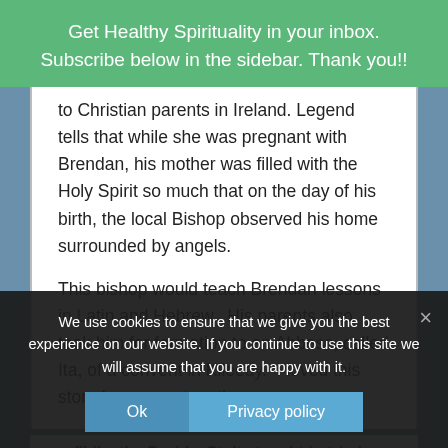Get Healthy Spirituality in your inbox. Subscribe below in the sidebar. Thank you!!
to Christian parents in Ireland. Legend tells that while she was pregnant with Brendan, his mother was filled with the Holy Spirit so much that on the day of his birth, the local Bishop observed his home surrounded by angels.
This bishop would teach Brendan lessons in Latin and Hebrew.  His parents also took him for formation to an Abbess, called Ita, of a convent in Kileedy.  I loved this story from a post on the
We use cookies to ensure that we give you the best experience on our website. If you continue to use this site we will assume that you are happy with it.
"Like the Druids, St. Ita taught in triads. Brendan is believed to have asked her what three things God loved best and she